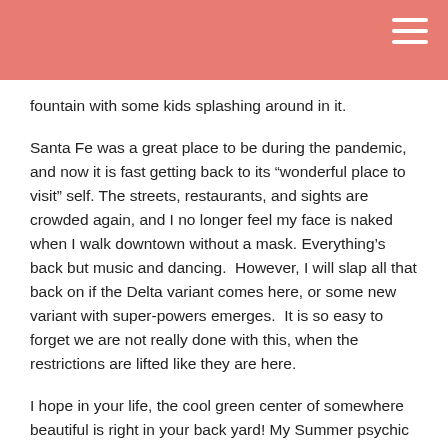fountain with some kids splashing around in it.
Santa Fe was a great place to be during the pandemic, and now it is fast getting back to its “wonderful place to visit” self. The streets, restaurants, and sights are crowded again, and I no longer feel my face is naked when I walk downtown without a mask. Everything’s back but music and dancing.  However, I will slap all that back on if the Delta variant comes here, or some new variant with super-powers emerges.  It is so easy to forget we are not really done with this, when the restrictions are lifted like they are here.
I hope in your life, the cool green center of somewhere beautiful is right in your back yard! My Summer psychic pictograph below predicts you will want some shade.
Enjoy the rest of your Spring… there are a lot of high-impact celestial events coming up – in fact, one important one today and I will add a paragraph about it right now… in